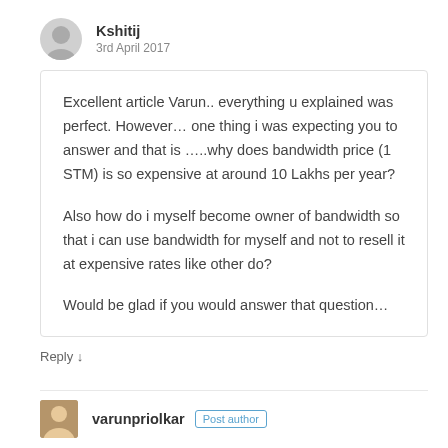Kshitij
3rd April 2017
Excellent article Varun.. everything u explained was perfect. However… one thing i was expecting you to answer and that is …..why does bandwidth price (1 STM) is so expensive at around 10 Lakhs per year?

Also how do i myself become owner of bandwidth so that i can use bandwidth for myself and not to resell it at expensive rates like other do?

Would be glad if you would answer that question…
Reply ↓
varunpriolkar Post author